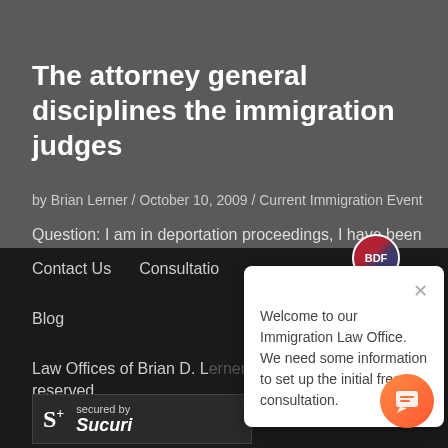The attorney general disciplines the immigration judges
by Brian Lerner / October 10, 2009 / Current Immigration Event
Question: I am in deportation proceedings, I have been
Contact Us   Consultation
Blog
Welcome to our Immigration Law Office. We need some information to set up the initial free consultation.
Law Offices of Brian D. Lerner, APC (c) 2022, All Rights reserved
[Figure (screenshot): Sucuri security badge showing 'secured by Sucuri' with S+ logo on dark background]